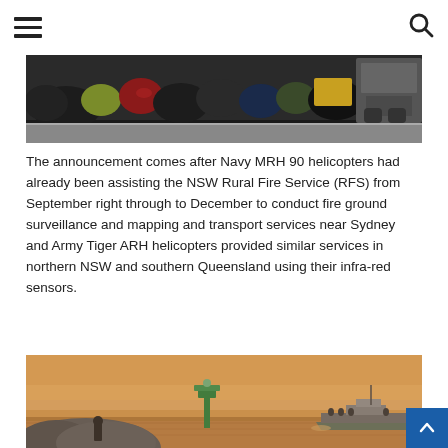[hamburger menu] [search icon]
[Figure (photo): Photo of bags and equipment piled near a vehicle, viewed in low light or overcast conditions. Bags of various colours including red, yellow, black, and green are stacked together.]
The announcement comes after Navy MRH 90 helicopters had already been assisting the NSW Rural Fire Service (RFS) from September right through to December to conduct fire ground surveillance and mapping and transport services near Sydney and Army Tiger ARH helicopters provided similar services in northern NSW and southern Queensland using their infra-red sensors.
[Figure (photo): Photo of a boat on the water under a hazy orange-yellow smoky sky. A person stands on rocky foreground near a green navigation beacon. A navy or patrol vessel is visible in the mid-distance on calm water.]